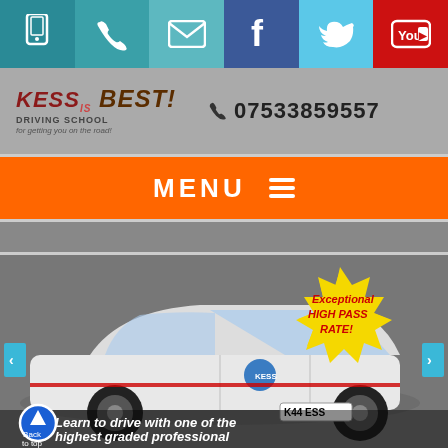[Figure (screenshot): Top navigation icon bar with mobile, phone, email, Facebook, Twitter, YouTube icons in colored cells]
[Figure (logo): Kess is Best Driving School logo with phone number 07533859557]
MENU ≡
[Figure (photo): White Vauxhall Corsa with Kess branding (K44 ESS plate), starburst badge 'Exceptional HIGH PASS RATE!', overlay text 'Learn to drive with one of the highest graded professional instructors in the UK', back-to-top arrow button]